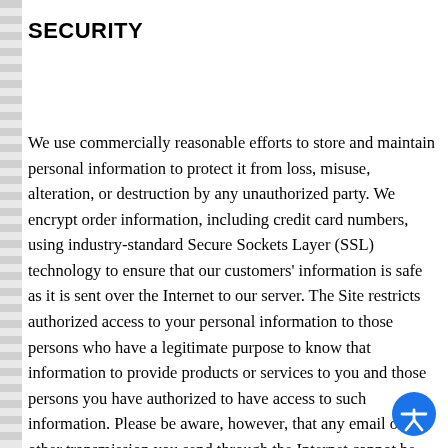SECURITY
We use commercially reasonable efforts to store and maintain personal information to protect it from loss, misuse, alteration, or destruction by any unauthorized party. We encrypt order information, including credit card numbers, using industry-standard Secure Sockets Layer (SSL) technology to ensure that our customers' information is safe as it is sent over the Internet to our server. The Site restricts authorized access to your personal information to those persons who have a legitimate purpose to know that information to provide products or services to you and those persons you have authorized to have access to such information. Please be aware, however, that any email or other transmission you send through the Internet cannot be completely protected against unauthorized interception.